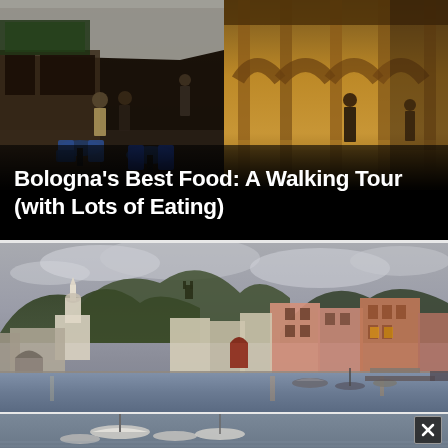[Figure (photo): Bologna street scene showing outdoor cafe seating with blue chairs on the left side and illuminated covered walkway/arcade (portico) on the right side at night or dusk]
Bologna's Best Food: A Walking Tour (with Lots of Eating)
[Figure (photo): Cinque Terre coastal village harbor scene (likely Vernazza), showing colorful pink and terracotta buildings along the waterfront, a church steeple, green hillsides with castle ruins, and small boats moored in the harbor on a cloudy day]
[Figure (photo): Cinque Terre harbor close-up showing small white and blue boats moored at the waterfront at dusk, partially visible at the bottom of the page with a close button in the lower right corner]